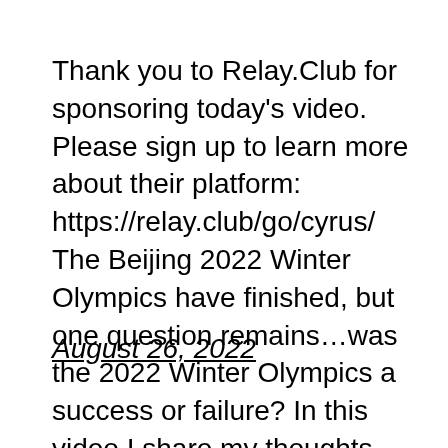Thank you to Relay.Club for sponsoring today's video. Please sign up to learn more about their platform: https://relay.club/go/cyrus/ The Beijing 2022 Winter Olympics have finished, but one question remains…was the 2022 Winter Olympics a success or failure? In this video I share my thoughts and reflect on some of the biggest stories of the Beijing […]
August 26, 2022